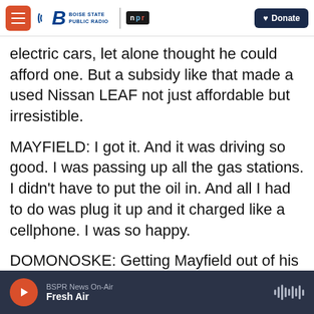Boise State Public Radio | NPR | Donate
electric cars, let alone thought he could afford one. But a subsidy like that made a used Nissan LEAF not just affordable but irresistible.
MAYFIELD: I got it. And it was driving so good. I was passing up all the gas stations. I didn't have to put the oil in. And all I had to do was plug it up and it charged like a cellphone. I was so happy.
DOMONOSKE: Getting Mayfield out of his raggedy old truck was a big upgrade to his life. Having a reliable vehicle is huge. And his part of the local pollution problem went from significant to zilch.
BSPR News On-Air | Fresh Air